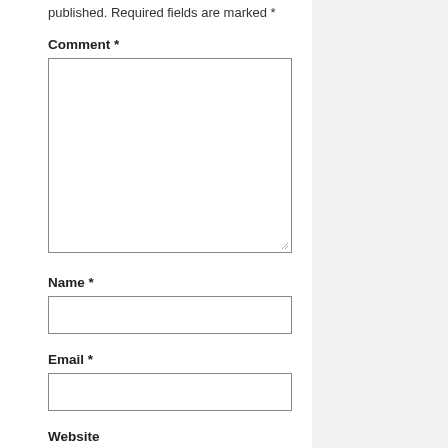published. Required fields are marked *
Comment *
[Figure (other): Comment textarea input field with resize handle]
Name *
[Figure (other): Name text input field]
Email *
[Figure (other): Email text input field]
Website